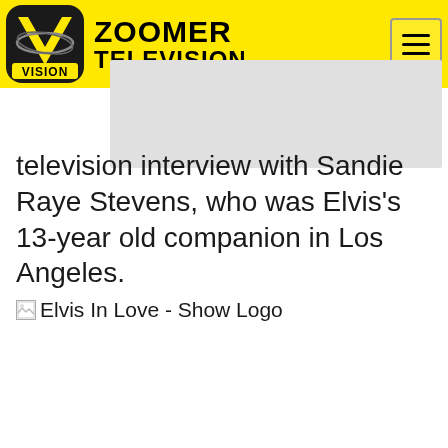ZOOMER TELEVISION
television interview with Sandie Raye Stevens, who was Elvis's 13-year old companion in Los Angeles.
[Figure (logo): Elvis In Love - Show Logo (broken image placeholder)]